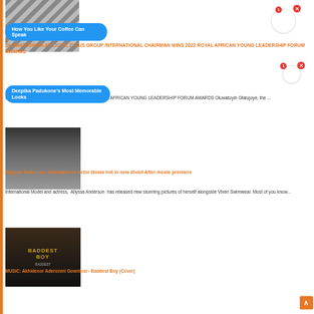[Figure (photo): Partial image of a person or scene at top left]
How You Like Your Coffee Can Speak
OLUWATOSIN OLATUJOYE, ZYLUS GROUP INTERNATIONAL CHAIRMAN WINS 2022 ROYAL AFRICAN YOUNG LEADERSHIP FORUM AWARDS
Deepika Padukone's Most Memorable Looks
P INTERNATIONAL CHAIRMAN WINS 2022 ROYAL AFRICAN YOUNG LEADERSHIP FORUM AWARDS Oluwatoyin Olatujoye, the ...
[Figure (photo): Woman in swimwear posing]
Allyssa Anderson, International Actor blows hot in new shoot After movie premiere
International Model and actress,  Allyssa Anderson  has released new stunning pictures of herself alongside Vixen Swimwear. Most of you know...
[Figure (photo): Baddest Boy music cover art]
MUSIC: Akhidenor Aderonmi Gownlosi - Baddest Boy (Cover)